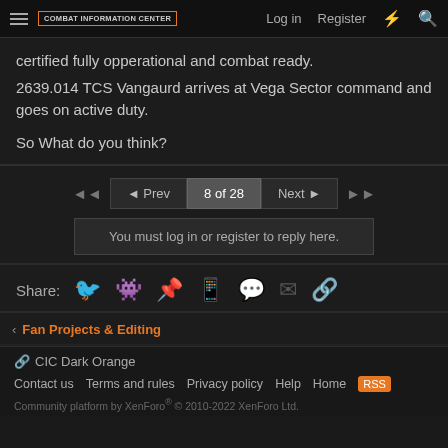Combat Information Center — Log in | Register
certified fully opperational and combat ready.
2639.014 TCS Vangaurd arrives at Vega Sector command and goes on active duty.

So What do you think?
◄◄  ◄ Prev  8 of 28  Next ►  ►►
You must log in or register to reply here.
Share: [Twitter] [Reddit] [Pinterest] [Tumblr] [WhatsApp] [Email] [Link]
Fan Projects & Editing
🔗 CIC Dark Orange
Contact us  Terms and rules  Privacy policy  Help  Home  [RSS]
Community platform by XenForo® © 2010-2022 XenForo Ltd.